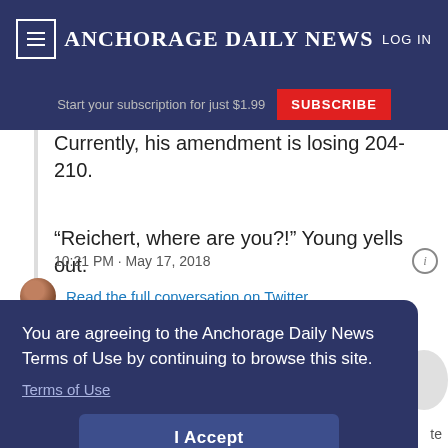Anchorage Daily News — LOG IN
Start your subscription for just $1.99  SUBSCRIBE
Currently, his amendment is losing 204-210.
“Reichert, where are you?!” Young yells out.
10:21 PM · May 17, 2018
Read the full conversation on Twitter
You are agreeing to the Anchorage Daily News Terms of Use by continuing to browse this site.
Terms of Use
I Accept